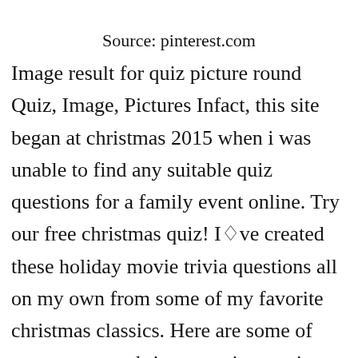Source: pinterest.com
Image result for quiz picture round Quiz, Image, Pictures Infact, this site began at christmas 2015 when i was unable to find any suitable quiz questions for a family event online. Try our free christmas quiz! Ióve created these holiday movie trivia questions all on my own from some of my favorite christmas classics. Here are some of our awesome christmas quiz questions that feature on our festive trivia experience!